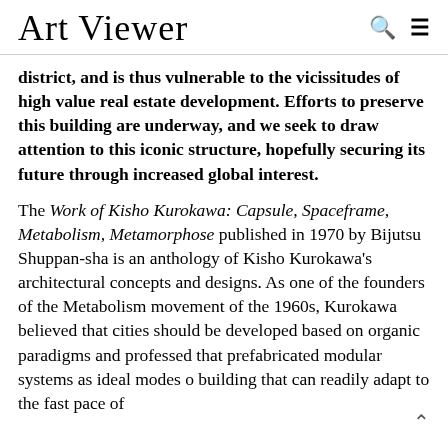Art Viewer
district, and is thus vulnerable to the vicissitudes of high value real estate development. Efforts to preserve this building are underway, and we seek to draw attention to this iconic structure, hopefully securing its future through increased global interest.
The Work of Kisho Kurokawa: Capsule, Spaceframe, Metabolism, Metamorphose published in 1970 by Bijutsu Shuppan-sha is an anthology of Kisho Kurokawa's architectural concepts and designs. As one of the founders of the Metabolism movement of the 1960s, Kurokawa believed that cities should be developed based on organic paradigms and professed that prefabricated modular systems as ideal modes o building that can readily adapt to the fast pace of